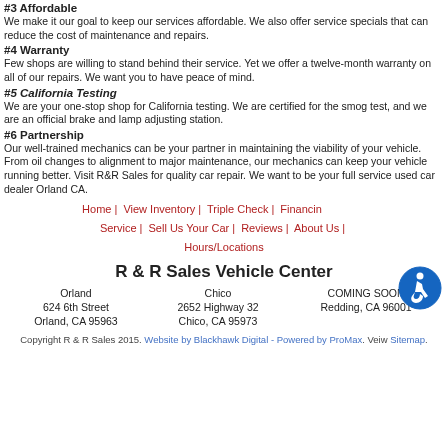#3 Affordable
We make it our goal to keep our services affordable. We also offer service specials that can reduce the cost of maintenance and repairs.
#4 Warranty
Few shops are willing to stand behind their service. Yet we offer a twelve-month warranty on all of our repairs. We want you to have peace of mind.
#5 California Testing
We are your one-stop shop for California testing. We are certified for the smog test, and we are an official brake and lamp adjusting station.
#6 Partnership
Our well-trained mechanics can be your partner in maintaining the viability of your vehicle. From oil changes to alignment to major maintenance, our mechanics can keep your vehicle running better. Visit R&R Sales for quality car repair. We want to be your full service used car dealer Orland CA.
Home | View Inventory | Triple Check | Financing | Service | Sell Us Your Car | Reviews | About Us | Hours/Locations
R & R Sales Vehicle Center
| Orland | Chico | COMING SOON |
| --- | --- | --- |
| 624 6th Street | 2652 Highway 32 | Redding, CA 96001 |
| Orland, CA 95963 | Chico, CA 95973 |  |
Copyright R & R Sales 2015. Website by Blackhawk Digital - Powered by ProMax. Veiw Sitemap.